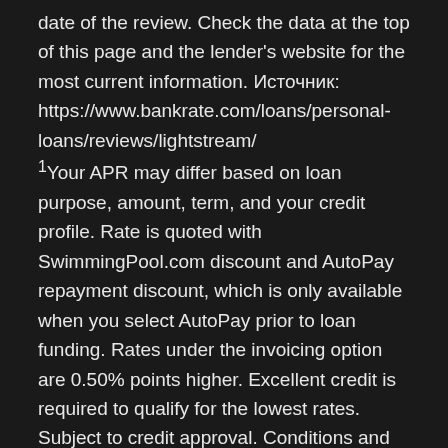date of the review. Check the data at the top of this page and the lender's website for the most current information. Источник: https://www.bankrate.com/loans/personal-loans/reviews/lightstream/
1Your APR may differ based on loan purpose, amount, term, and your credit profile. Rate is quoted with SwimmingPool.com discount and AutoPay repayment discount, which is only available when you select AutoPay prior to loan funding. Rates under the invoicing option are 0.50% points higher. Excellent credit is required to qualify for the lowest rates. Subject to credit approval. Conditions and limitations apply. Advertised rates and terms are subject to change without notice.
Payment example: Monthly payments for a $25,000 loan at 6.39% APR with a term of 12 years would result in 144